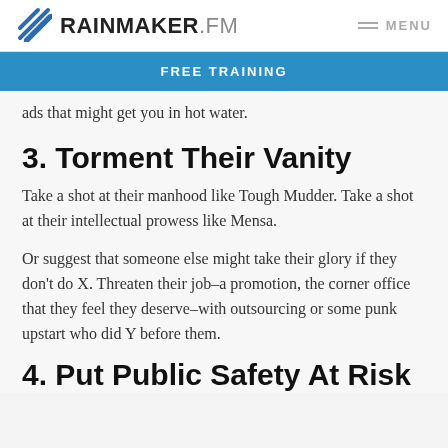RAINMAKER.FM  MENU
FREE TRAINING
ads that might get you in hot water.
3. Torment Their Vanity
Take a shot at their manhood like Tough Mudder. Take a shot at their intellectual prowess like Mensa.
Or suggest that someone else might take their glory if they don't do X. Threaten their job–a promotion, the corner office that they feel they deserve–with outsourcing or some punk upstart who did Y before them.
4. Put Public Safety At Risk